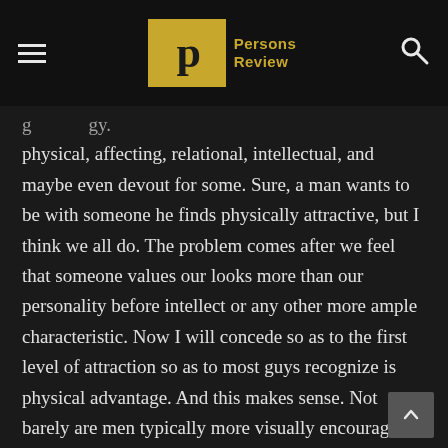Persons Review
physical, affecting, relational, intellectual, and maybe even devout for some. Sure, a man wants to be with someone he finds physically attractive, but I think we all do. The problem comes after we feel that someone values our looks more than our personality before intellect or any other more ample characteristic. Now I will concede so as to the first level of attraction so as to most guys recognize is physical advantage. And this makes sense. Not barely are men typically more visually encourage , but this is also the normal order of things. When I meet someone new, they make a visual impression this includes what they wear, how they carry themselves, their facial expressions before I get the chance to talk to them by length, let alone form a acquaintance with them.